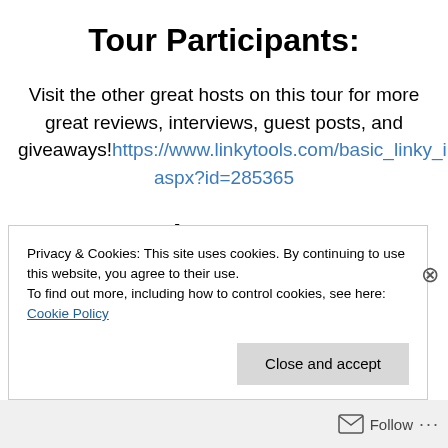Tour Participants:
Visit the other great hosts on this tour for more great reviews, interviews, guest posts, and giveaways! https://www.linkytools.com/basic_linky_include.aspx?id=285365
Giveaway:
Privacy & Cookies: This site uses cookies. By continuing to use this website, you agree to their use. To find out more, including how to control cookies, see here: Cookie Policy
Close and accept
Follow